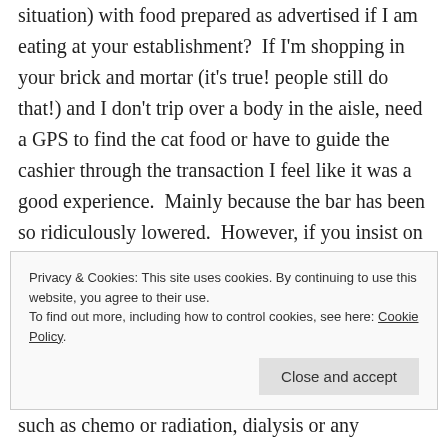situation) with food prepared as advertised if I am eating at your establishment?  If I'm shopping in your brick and mortar (it's true! people still do that!) and I don't trip over a body in the aisle, need a GPS to find the cat food or have to guide the cashier through the transaction I feel like it was a good experience.  Mainly because the bar has been so ridiculously lowered.  However, if you insist on handing me a survey on the way out I may feel the need to be
Privacy & Cookies: This site uses cookies. By continuing to use this website, you agree to their use.
To find out more, including how to control cookies, see here: Cookie Policy
such as chemo or radiation, dialysis or any